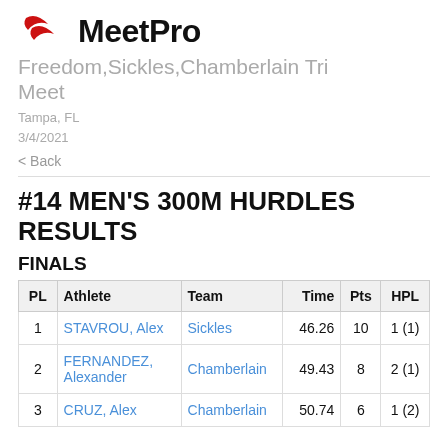[Figure (logo): MeetPro logo with red swoosh marks and bold black MeetPro text]
Freedom,Sickles,Chamberlain Tri Meet
Tampa, FL
3/4/2021
< Back
#14 MEN'S 300M HURDLES RESULTS
FINALS
| PL | Athlete | Team | Time | Pts | HPL |
| --- | --- | --- | --- | --- | --- |
| 1 | STAVROU, Alex | Sickles | 46.26 | 10 | 1 (1) |
| 2 | FERNANDEZ, Alexander | Chamberlain | 49.43 | 8 | 2 (1) |
| 3 | CRUZ, Alex | Chamberlain | 50.74 | 6 | 1 (2) |